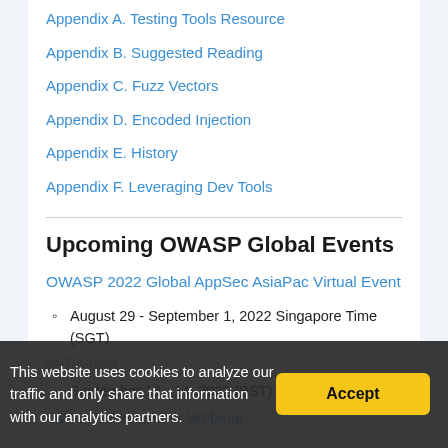Appendix A. Testing Tools Resource
Appendix B. Suggested Reading
Appendix C. Fuzz Vectors
Appendix D. Encoded Injection
Appendix E. History
Appendix F. Leveraging Dev Tools
Upcoming OWASP Global Events
OWASP 2022 Global AppSec AsiaPac Virtual Event
August 29 - September 1, 2022 Singapore Time (SGT)
er Training
September 13 - 14, 2022 (BST)
OWASP September Webinar
This website uses cookies to analyze our traffic and only share that information with our analytics partners.